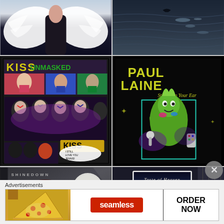[Figure (photo): Person wearing white feathered wings against a dark blue background]
[Figure (photo): Dark water surface reflecting light, possibly a lake or river]
[Figure (photo): KISS Unmasked vinyl album cover featuring comic book style artwork]
[Figure (photo): Paul Laine 'Stick It In Your Ear' vinyl album cover with illustrated character on black background]
[Figure (photo): Shinedown vinyl album on grey/silver background with circular label]
[Figure (photo): Taste of Heaven CD propped against shelf of CDs]
Advertisements
[Figure (screenshot): Seamless food delivery advertisement banner with pizza image, red Seamless logo button, and ORDER NOW call to action]